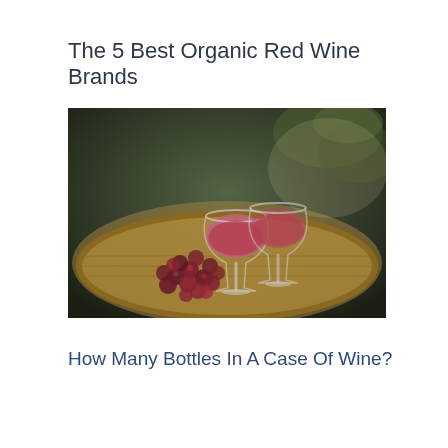The 5 Best Organic Red Wine Brands
[Figure (photo): Two glasses of red wine and a bunch of red grapes on a wicker tray, with a dark garden background]
How Many Bottles In A Case Of Wine?